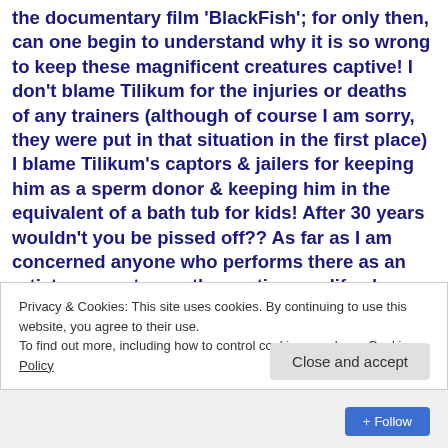the documentary film 'BlackFish'; for only then, can one begin to understand why it is so wrong to keep these magnificent creatures captive! I don't blame Tilikum for the injuries or deaths  of any trainers (although of course I am sorry, they were put in that situation in the first place) I blame Tilikum's captors & jailers for keeping him as a sperm donor & keeping him in the equivalent of a bath tub for kids! After 30 years wouldn't you be pissed off?? As far as I am concerned anyone who performs there as an artist or pays to see the captive sea life shows (who haven't
Privacy & Cookies: This site uses cookies. By continuing to use this website, you agree to their use.
To find out more, including how to control cookies, see here: Cookie Policy
Close and accept